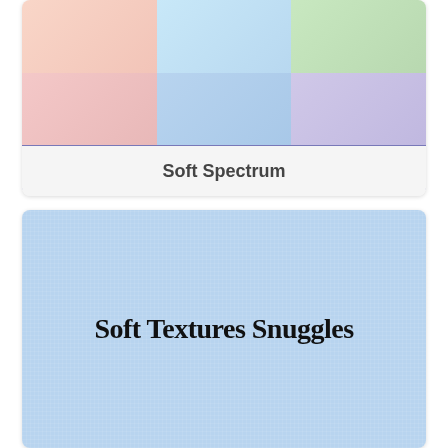[Figure (photo): Soft Spectrum Essentials fabric collection card showing a 2x3 grid of pastel fabric swatches (pink, blue, green, salmon, light blue, lavender) above a purple banner reading 'Soft Spectrum Essentials By Wilmington Prints']
Soft Spectrum
[Figure (photo): Light blue textured fabric swatch with bold black text overlay reading 'Soft Textures Snuggles']